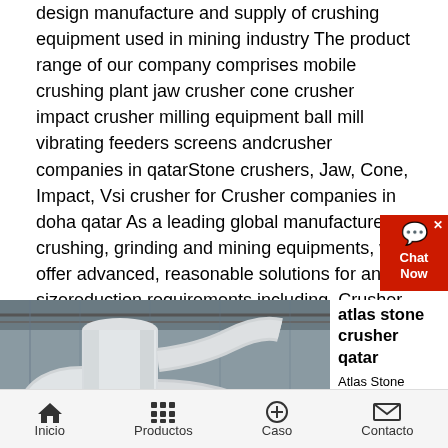design manufacture and supply of crushing equipment used in mining industry The product range of our company comprises mobile crushing plant jaw crusher cone crusher impact crusher milling equipment ball mill vibrating feeders screens andcrusher companies in qatarStone crushers, Jaw, Cone, Impact, Vsi crusher for Crusher companies in doha qatar As a leading global manufacturer of crushing, grinding and mining equipments, we offer advanced, reasonable solutions for any sizereduction requirements including, Crusher companies in doha qatar, quarry, aggregate, and different kinds of mineralsCrusher companies in doha qatar
[Figure (photo): Industrial facility interior showing large white pipes and ductwork inside a metal-roofed warehouse building]
atlas stone crusher qatar
Atlas Stone Crusher Qatar
Inicio   Productos   Caso   Contacto